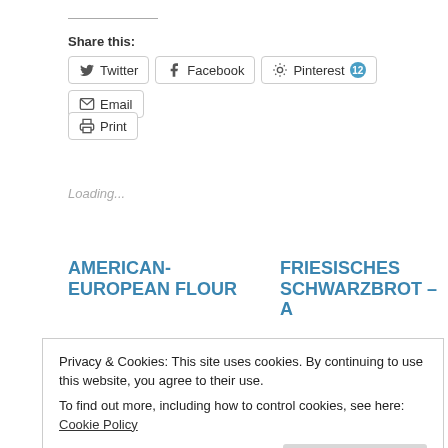Share this:
Twitter  Facebook  Pinterest 12  Email
Print
Loading...
AMERICAN-EUROPEAN FLOUR
FRIESISCHES SCHWARZBROT – A
In "American Flour"
In "Flaxseed"
Privacy & Cookies: This site uses cookies. By continuing to use this website, you agree to their use.
To find out more, including how to control cookies, see here: Cookie Policy
Close and accept